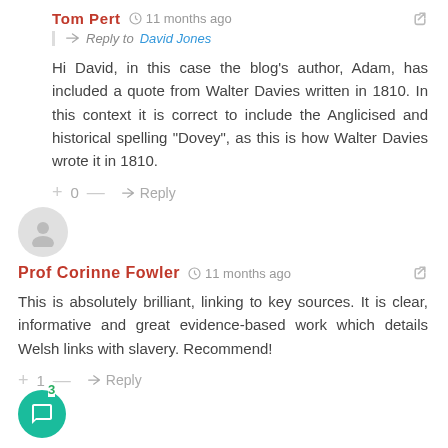Tom Pert  11 months ago
Reply to David Jones
Hi David, in this case the blog's author, Adam, has included a quote from Walter Davies written in 1810. In this context it is correct to include the Anglicised and historical spelling “Dovey”, as this is how Walter Davies wrote it in 1810.
+ 0 —  Reply
Prof Corinne Fowler  11 months ago
This is absolutely brilliant, linking to key sources. It is clear, informative and great evidence-based work which details Welsh links with slavery. Recommend!
+ 1 —  Reply